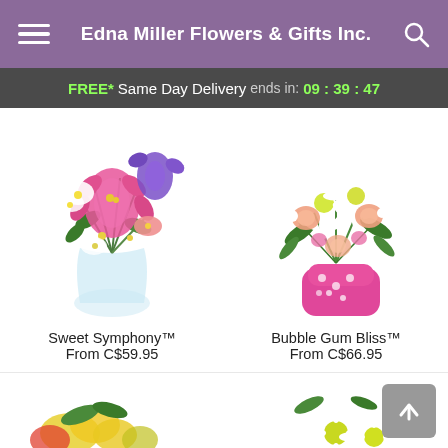Edna Miller Flowers & Gifts Inc.
FREE* Same Day Delivery ends in: 09 : 39 : 47
[Figure (photo): Bouquet of pink lilies, purple irises, and white alstroemeria in a round glass vase — Sweet Symphony]
Sweet Symphony™
From C$59.95
[Figure (photo): Arrangement of white daisies, peach roses, and pink flowers in a pink polka-dot boot vase — Bubble Gum Bliss]
Bubble Gum Bliss™
From C$66.95
[Figure (photo): Partial view of yellow and red flower bouquet at bottom left]
[Figure (photo): Partial view of white daisy bouquet at bottom right]